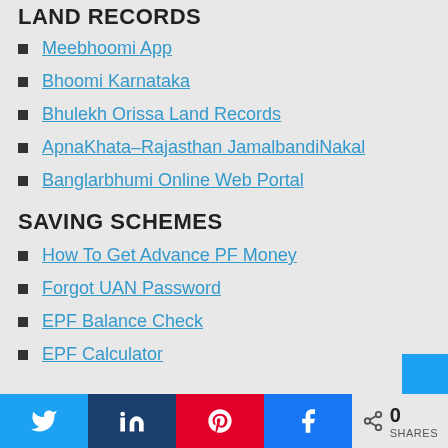LAND RECORDS
Meebhoomi App
Bhoomi Karnataka
Bhulekh Orissa Land Records
ApnaKhata–Rajasthan JamalbandiNakal
Banglarbhumi Online Web Portal
SAVING SCHEMES
How To Get Advance PF Money
Forgot UAN Password
EPF Balance Check
EPF Calculator
[Figure (other): Twitter share button]
[Figure (other): LinkedIn share button]
[Figure (other): Pinterest share button]
[Figure (other): Facebook share button]
0 SHARES